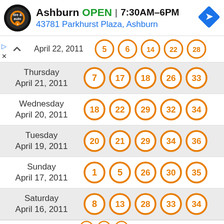[Figure (screenshot): Ad banner for Ashburn tire and auto shop showing logo, OPEN status, hours 7:30AM-6PM, address 43781 Parkhurst Plaza Ashburn, and a blue navigation arrow icon]
| Date | Numbers |
| --- | --- |
| April 22, 2011 (partial) | 5, 6, 14, 22, 28 |
| Thursday April 21, 2011 | 7, 17, 18, 26, 33 |
| Wednesday April 20, 2011 | 18, 22, 29, 32, 34 |
| Tuesday April 19, 2011 | 20, 21, 29, 34, 36 |
| Sunday April 17, 2011 | 1, 5, 26, 30, 35 |
| Saturday April 16, 2011 | 8, 13, 28, 33, 34 |